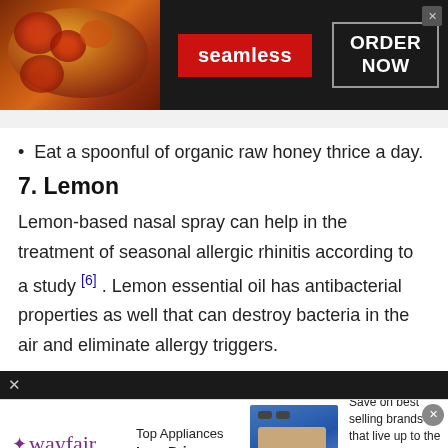[Figure (infographic): Seamless food delivery advertisement banner with pizza image on left, Seamless red logo badge in center, ORDER NOW button on right, dark background]
Eat a spoonful of organic raw honey thrice a day.
7. Lemon
Lemon-based nasal spray can help in the treatment of seasonal allergic rhinitis according to a study [6] . Lemon essential oil has antibacterial properties as well that can destroy bacteria in the air and eliminate allergy triggers.
[Figure (infographic): Wayfair advertisement: Top Appliances Low Prices, with appliance image and Shop now button, Save on best selling brands that live up to the hype]